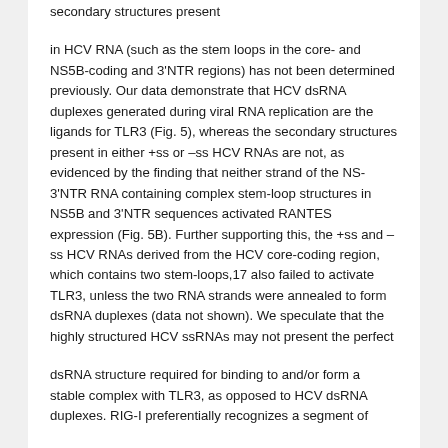secondary structures present
in HCV RNA (such as the stem loops in the core- and NS5B-coding and 3'NTR regions) has not been determined previously. Our data demonstrate that HCV dsRNA duplexes generated during viral RNA replication are the ligands for TLR3 (Fig. 5), whereas the secondary structures present in either +ss or –ss HCV RNAs are not, as evidenced by the finding that neither strand of the NS-3'NTR RNA containing complex stem-loop structures in NS5B and 3'NTR sequences activated RANTES expression (Fig. 5B). Further supporting this, the +ss and –ss HCV RNAs derived from the HCV core-coding region, which contains two stem-loops,17 also failed to activate TLR3, unless the two RNA strands were annealed to form dsRNA duplexes (data not shown). We speculate that the highly structured HCV ssRNAs may not present the perfect
dsRNA structure required for binding to and/or form a stable complex with TLR3, as opposed to HCV dsRNA duplexes. RIG-I preferentially recognizes a segment of